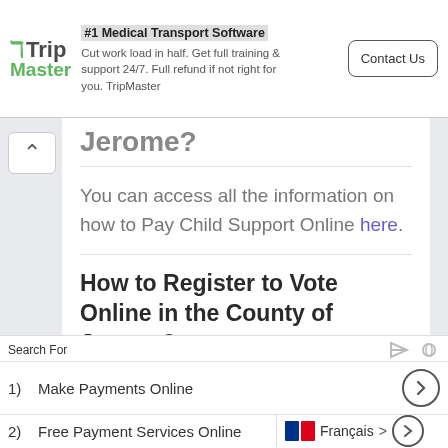[Figure (screenshot): TripMaster ad banner: logo with green icon, headline '#1 Medical Transport Software', body text 'Cut work load in half. Get full training & support 24/7. Full refund if not right for you. TripMaster', and 'Contact Us' button]
Jerome?
You can access all the information on how to Pay Child Support Online here.
How to Register to Vote Online in the County of Jerome?
You can access all the information on how to Register to Vote Online here.
How to Apply for
Search For
1)  Make Payments Online
2)  Free Payment Services Online
Français >